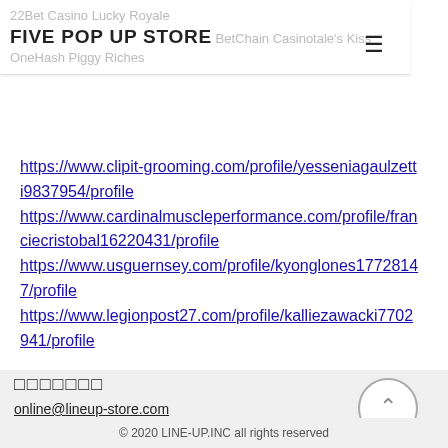22Bet Casino Lucky Royale
FIVE POP UP STORE BetChain Casinotale's Kiss
OneHash Piggy Riches
https://www.clipit-grooming.com/profile/yesseniagaulzetti9837954/profile https://www.cardinalmuscleperformance.com/profile/franciecristobal16220431/profile https://www.usguernsey.com/profile/kyonglones17728147/profile https://www.legionpost27.com/profile/kalliezawacki7702941/profile
□□□□□□□
online@lineup-store.com
© 2020 LINE-UP.INC all rights reserved